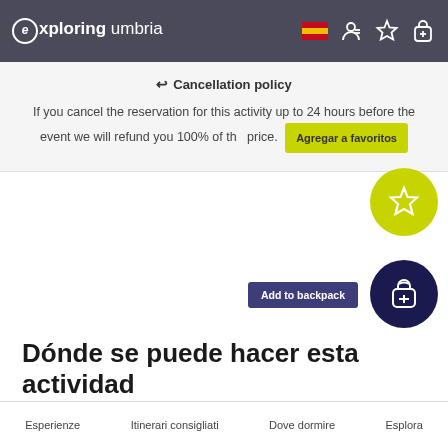exploring umbria
Cancellation policy
If you cancel the reservation for this activity up to 24 hours before the event we will refund you 100% of the price.
Agregar a favoritos
Add to backpack
Dónde se puede hacer esta actividad
Esperienze  Itinerari consigliati  Dove dormire  Esplora